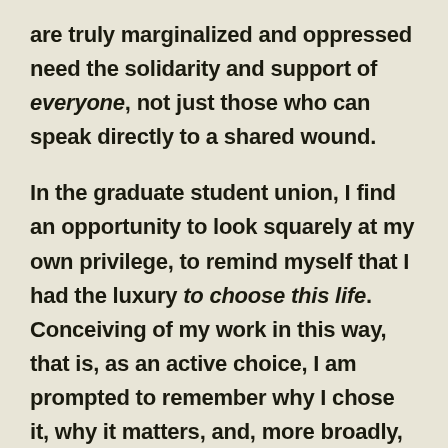are truly marginalized and oppressed need the solidarity and support of everyone, not just those who can speak directly to a shared wound.
In the graduate student union, I find an opportunity to look squarely at my own privilege, to remind myself that I had the luxury to choose this life. Conceiving of my work in this way, that is, as an active choice, I am prompted to remember why I chose it, why it matters, and, more broadly, why the public university matters and why its mission must be tenaciously defended. At the root of all of this, therefore, is the contention that the work of the scholar cannot be parsed from the work of the citizen